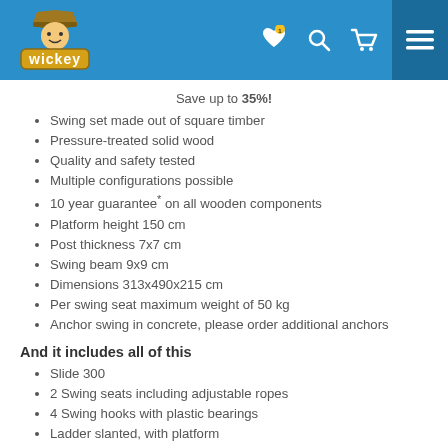Wickey — header navigation
Save up to 35%!
Swing set made out of square timber
Pressure-treated solid wood
Quality and safety tested
Multiple configurations possible
10 year guarantee* on all wooden components
Platform height 150 cm
Post thickness 7x7 cm
Swing beam 9x9 cm
Dimensions 313x490x215 cm
Per swing seat maximum weight of 50 kg
Anchor swing in concrete, please order additional anchors
And it includes all of this
Slide 300
2 Swing seats including adjustable ropes
4 Swing hooks with plastic bearings
Ladder slanted, with platform